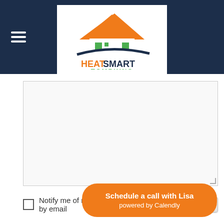HeatSmart Tompkins navigation header with logo
[Figure (logo): HeatSmart Tompkins logo: house with orange roof, green windows, blue swoosh, HEAT in orange, SMART in dark blue, TOMPKINS in green]
Notify me of new comments to this post by email
Submit
Schedule a call with Lisa
powered by Calendly